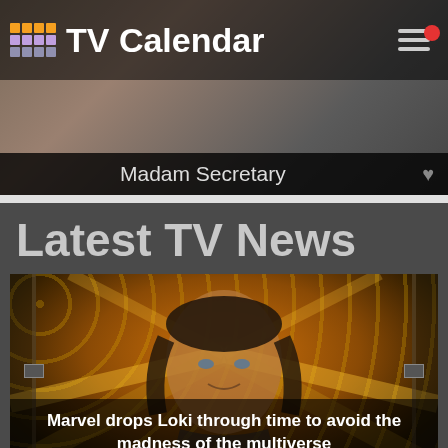TV Calendar
Madam Secretary
Latest TV News
[Figure (photo): Loki (Marvel character) promotional image with golden bokeh background and light rays, with caption overlay]
Marvel drops Loki through time to avoid the madness of the multiverse